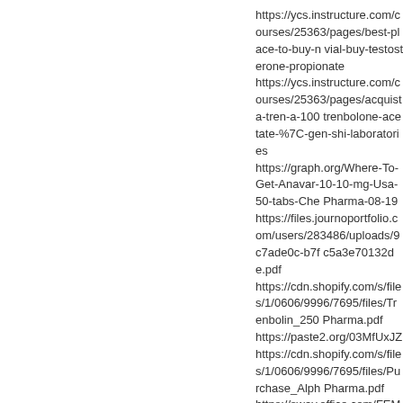https://ycs.instructure.com/courses/25363/pages/best-place-to-buy-n vial-buy-testosterone-propionate
https://ycs.instructure.com/courses/25363/pages/acquista-tren-a-100 trenbolone-acetate-%7C-gen-shi-laboratories
https://graph.org/Where-To-Get-Anavar-10-10-mg-Usa-50-tabs-Che Pharma-08-19
https://files.journoportfolio.com/users/283486/uploads/9c7ade0c-b7f c5a3e70132de.pdf
https://cdn.shopify.com/s/files/1/0606/9996/7695/files/Trenbolin_250 Pharma.pdf
https://paste2.org/03MfUxJZ
https://cdn.shopify.com/s/files/1/0606/9996/7695/files/Purchase_Alph Pharma.pdf
https://sway.office.com/FEMO87T9ZSY3Enty
https://sway.office.com/nkVVnQDniPMQitff
https://ecs.instructure.com/courses/30385/pages/aromasin-25-mg-s exemestane-%7C-dragon-pharma
https://telegra.ph/Buy-Strombaject-50-mg-Online-Cheap-10-amps-O Pharmaceuticals-08-19
https://ctxt.io/2/AADgJ9TkFA
https://snippet.host/qbkc
https://graph.org/Buy-Testo-Prop-1-100-mg-On-Sale-10-amps-Gene Maxtreme-Pharma-08-19
https://ecs.instructure.com/courses/30385/pages/buy-testocyp-250-r cheap-testosterone-cypionate-%7C-alpha-pharma
https://graph.org/Purchase-Norditropin-Simplexx-30iu-USA-1-cartrid Nordisk-08-19
https://files.journoportfolio.com/users/283486/uploads/705459e3-44e 624d3d1202b5.pdf